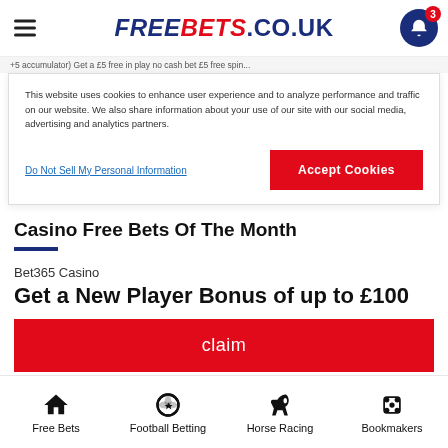FREEBETS.CO.UK
This website uses cookies to enhance user experience and to analyze performance and traffic on our website. We also share information about your use of our site with our social media, advertising and analytics partners.
Do Not Sell My Personal Information
Accept Cookies
Casino Free Bets Of The Month
Bet365 Casino
Get a New Player Bonus of up to £100
claim
Free Bets  Football Betting  Horse Racing  Bookmakers